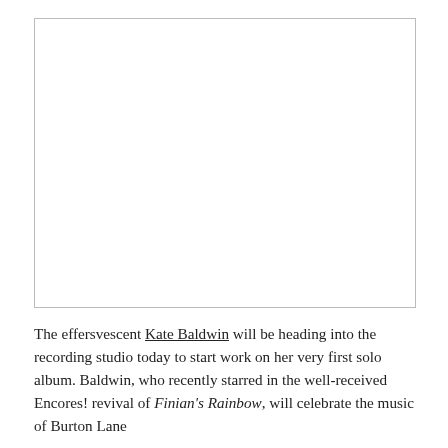[Figure (photo): Empty white box with border, representing a photo placeholder.]
The effersvescent Kate Baldwin will be heading into the recording studio today to start work on her very first solo album. Baldwin, who recently starred in the well-received Encores! revival of Finian's Rainbow, will celebrate the music of Burton Lane